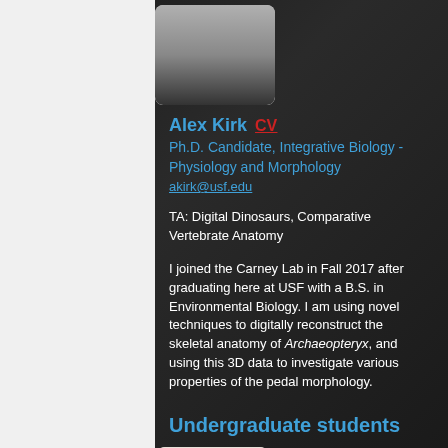[Figure (photo): Photo of Alex Kirk standing in a lab/room setting, wearing casual clothes]
Alex Kirk  CV
Ph.D. Candidate, Integrative Biology - Physiology and Morphology
akirk@usf.edu
TA: Digital Dinosaurs, Comparative Vertebrate Anatomy
I joined the Carney Lab in Fall 2017 after graduating here at USF with a B.S. in Environmental Biology. I am using novel techniques to digitally reconstruct the skeletal anatomy of Archaeopteryx, and using this 3D data to investigate various properties of the pedal morphology.
Undergraduate students
[Figure (photo): Headshot photo of an undergraduate student with dark hair]